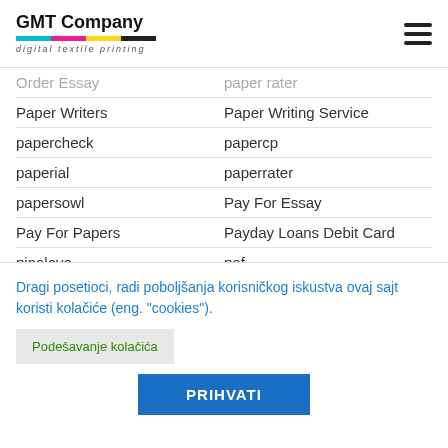[Figure (logo): GMT Company logo with colored bar and italic subtitle 'digital textile printing']
Order Essay | paper rater
Paper Writers | Paper Writing Service
papercheck | papercp
paperial | paperrater
papersowl | Pay For Essay
Pay For Papers | Payday Loans Debit Card
pinalove | pof
polish women | Popular Dating Sites
Dragi posetioci, radi poboljšanja korisničkog iskustva ovaj sajt koristi kolačiće (eng. "cookies").
Podešavanje kolačića
PRIHVATI